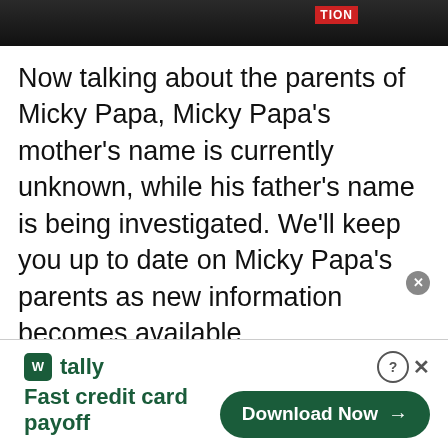[Figure (photo): Dark photo strip showing partial image of people, with a red logo/label visible on the right side]
Now talking about the parents of Micky Papa, Micky Papa's mother's name is currently unknown, while his father's name is being investigated. We'll keep you up to date on Micky Papa's parents as new information becomes available.
[Figure (screenshot): Advertisement banner for Tally app - Fast credit card payoff, with Download Now button]